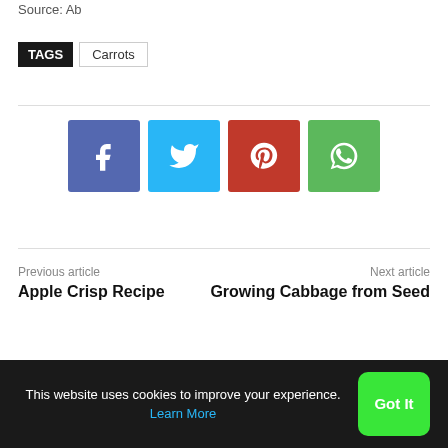Source: Ab
TAGS   Carrots
[Figure (other): Social sharing buttons: Facebook, Twitter, Pinterest, WhatsApp]
Previous article
Apple Crisp Recipe
Next article
Growing Cabbage from Seed
RELATED ARTICLES
This website uses cookies to improve your experience. Learn More   Got It